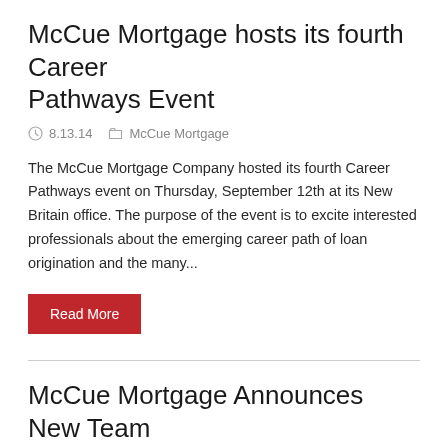McCue Mortgage hosts its fourth Career Pathways Event
8.13.14    McCue Mortgage
The McCue Mortgage Company hosted its fourth Career Pathways event on Thursday, September 12th at its New Britain office. The purpose of the event is to excite interested professionals about the emerging career path of loan origination and the many...
Read More
McCue Mortgage Announces New Team Member: Rich Novacki
8.13.14    McCue Mortgage
McCue Mortgage is excited to welcome Rich Novacki as our newest Mortgage Loan Originator. Rich attended our Career Pathways program